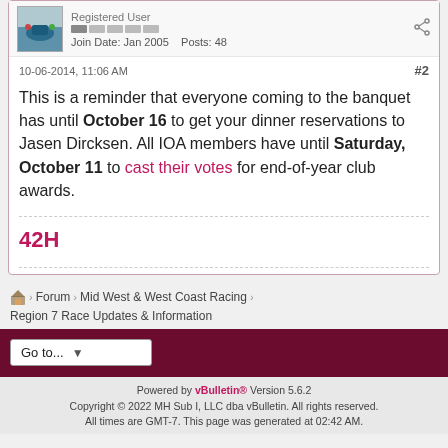Join Date: Jan 2005    Posts: 48
10-06-2014, 11:06 AM  #2
This is a reminder that everyone coming to the banquet has until October 16 to get your dinner reservations to Jasen Dircksen. All IOA members have until Saturday, October 11 to cast their votes for end-of-year club awards.
42H
Forum > Mid West & West Coast Racing > Region 7 Race Updates & Information
Go to...
Powered by vBulletin® Version 5.6.2
Copyright © 2022 MH Sub I, LLC dba vBulletin. All rights reserved.
All times are GMT-7. This page was generated at 02:42 AM.